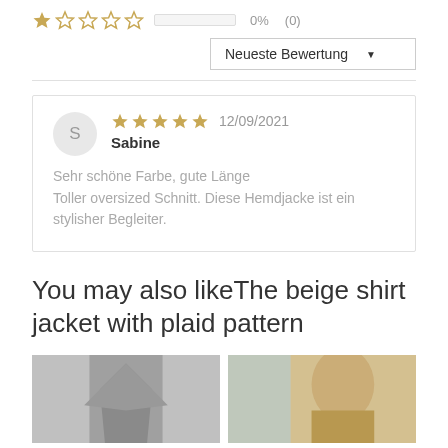★☆☆☆☆  0%  (0)
Neueste Bewertung ▼
S  ★★★★★  12/09/2021  Sabine  Sehr schöne Farbe, gute Länge Toller oversized Schnitt. Diese Hemdjacke ist ein stylisher Begleiter.
You may also likeThe beige shirt jacket with plaid pattern
[Figure (photo): Grey clothing item — oversized shirt jacket, grey fabric]
[Figure (photo): Woman wearing a beige shirt jacket outdoors]